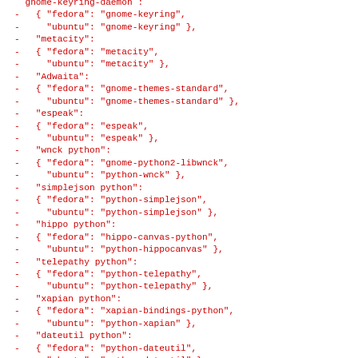- gnome-keyring-daemon :
-   { "fedora": "gnome-keyring",
-     "ubuntu": "gnome-keyring" },
-   "metacity":
-   { "fedora": "metacity",
-     "ubuntu": "metacity" },
-   "Adwaita":
-   { "fedora": "gnome-themes-standard",
-     "ubuntu": "gnome-themes-standard" },
-   "espeak":
-   { "fedora": "espeak",
-     "ubuntu": "espeak" },
-   "wnck python":
-   { "fedora": "gnome-python2-libwnck",
-     "ubuntu": "python-wnck" },
-   "simplejson python":
-   { "fedora": "python-simplejson",
-     "ubuntu": "python-simplejson" },
-   "hippo python":
-   { "fedora": "hippo-canvas-python",
-     "ubuntu": "python-hippocanvas" },
-   "telepathy python":
-   { "fedora": "python-telepathy",
-     "ubuntu": "python-telepathy" },
-   "xapian python":
-   { "fedora": "xapian-bindings-python",
-     "ubuntu": "python-xapian" },
-   "dateutil python":
-   { "fedora": "python-dateutil",
-     "ubuntu": "python-dateutil" },
-   "gtksourceview2 python":